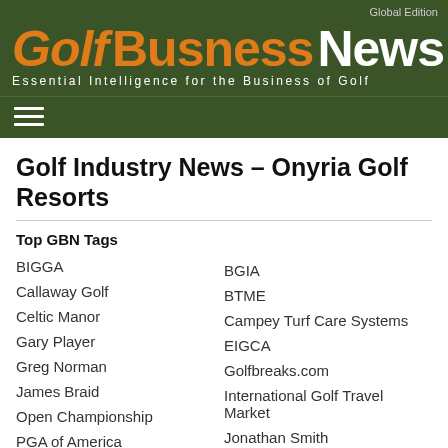Global Edition
Golf Business News – Essential Intelligence for the Business of Golf
Golf Industry News - Onyria Golf Resorts
Top GBN Tags
BIGGA
Callaway Golf
Celtic Manor
Gary Player
Greg Norman
James Braid
Open Championship
PGA of America
BGIA
BTME
Campey Turf Care Systems
EIGCA
Golfbreaks.com
International Golf Travel Market
Jonathan Smith
pga merchandise show
PGA Tour